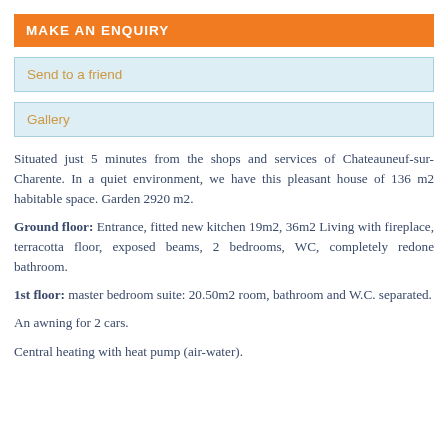MAKE AN ENQUIRY
Send to a friend
Gallery
Situated just 5 minutes from the shops and services of Chateauneuf-sur-Charente. In a quiet environment, we have this pleasant house of 136 m2 habitable space. Garden 2920 m2.

Ground floor: Entrance, fitted new kitchen 19m2, 36m2 Living with fireplace, terracotta floor, exposed beams, 2 bedrooms, WC, completely redone bathroom.

1st floor: master bedroom suite: 20.50m2 room, bathroom and W.C. separated.

An awning for 2 cars.

Central heating with heat pump (air-water).